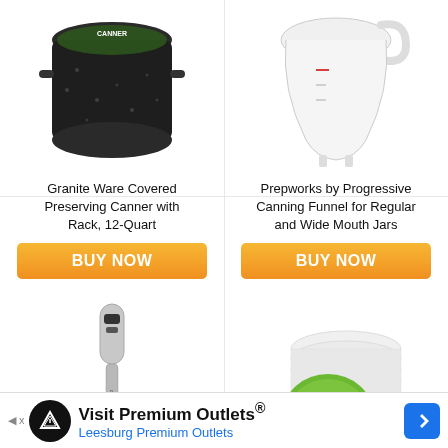[Figure (photo): Granite Ware Covered Preserving Canner with Rack, 12-Quart - black speckled pot]
[Figure (photo): Prepworks by Progressive Canning Funnel for Regular and Wide Mouth Jars - white funnel]
Granite Ware Covered Preserving Canner with Rack, 12-Quart
Prepworks by Progressive Canning Funnel for Regular and Wide Mouth Jars
BUY NOW
BUY NOW
[Figure (photo): Cuisinart CSB-75BC Smart Stick 200 Watt 2 Speed Hand Blender, Brushed Chrome]
[Figure (photo): DuraHome Deli Containers with Lids 8 oz. Leakproof 40 Pack Plastic Microwaveable]
Cuisinart CSB-75BC Smart Stick 200 Watt 2 Speed Hand Blender, Brushed Chrome
DuraHome – Deli Containers with Lids 8 oz. Leakproof – 40 Pack Plastic Microwaveable
Visit Premium Outlets® Leesburg Premium Outlets